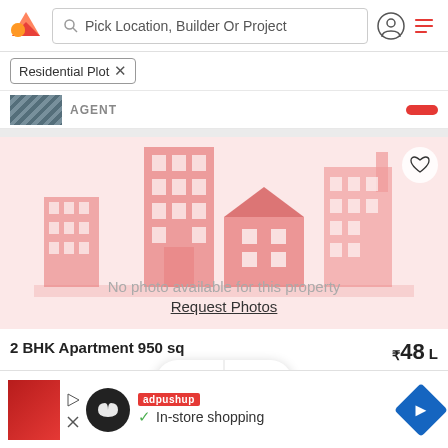Pick Location, Builder Or Project
Residential Plot ×
AGENT
[Figure (illustration): Real estate placeholder image showing cartoon buildings in red/pink tones with text 'No photo available for this property' and 'Request Photos' link]
No photo available for this property
Request Photos
2 BHK Apartment 950 sq
₹48 L
Pimpri, Pune
2 BHK land for Sale in Pimpri Pune: A 2 bhk pr... More
[Figure (screenshot): Ad overlay from adpushup with circular logo, play/close icons, 'In-store shopping' text with checkmark, and blue navigation diamond icon]